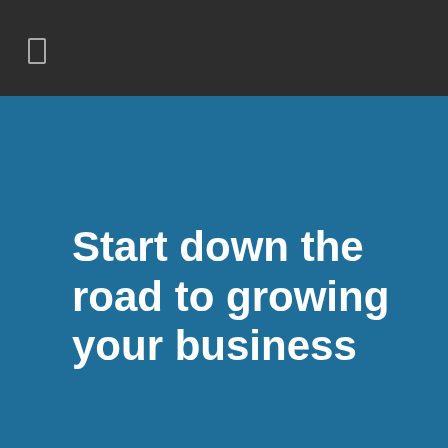[Figure (other): Small rectangular icon outline on dark header background]
Start down the road to growing your business